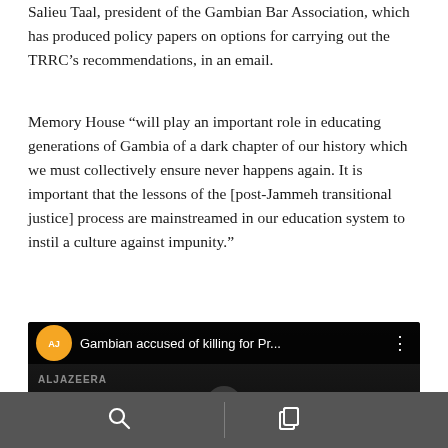Salieu Taal, president of the Gambian Bar Association, which has produced policy papers on options for carrying out the TRRC's recommendations, in an email.
Memory House “will play an important role in educating generations of Gambia of a dark chapter of our history which we must collectively ensure never happens again. It is important that the lessons of the [post-Jammeh transitional justice] process are mainstreamed in our education system to instil a culture against impunity.”
[Figure (screenshot): YouTube video embed showing Al Jazeera video titled 'Gambian accused of killing for Pr...' with Al Jazeera orange logo, dark video frame showing people in a room, and a play button in the center. Bottom shows 'ALJAZEERA' watermark.]
Navigation bar with search icon and copy/layers icon on dark grey background